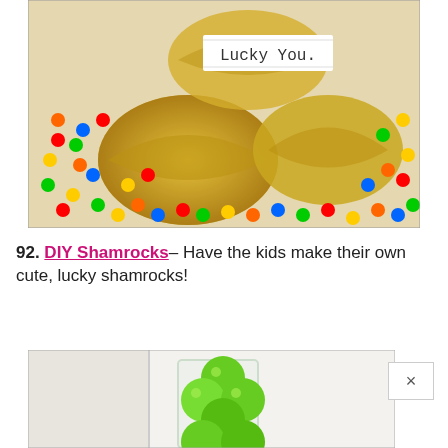[Figure (photo): Gold glitter fortune cookies with a paper slip reading 'Lucky You.' surrounded by colorful candy-coated chocolates on a white surface.]
92. DIY Shamrocks– Have the kids make their own cute, lucky shamrocks!
[Figure (photo): Green ball-shaped shamrock decorations in a clear glass vase, partially visible, cropped at bottom of page.]